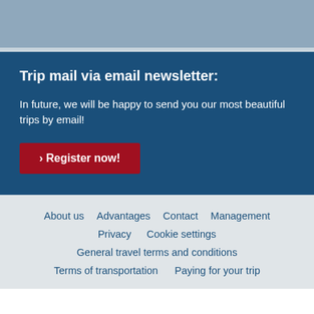Trip mail via email newsletter:
In future, we will be happy to send you our most beautiful trips by email!
> Register now!
About us
Advantages
Contact
Management
Privacy
Cookie settings
General travel terms and conditions
Terms of transportation
Paying for your trip